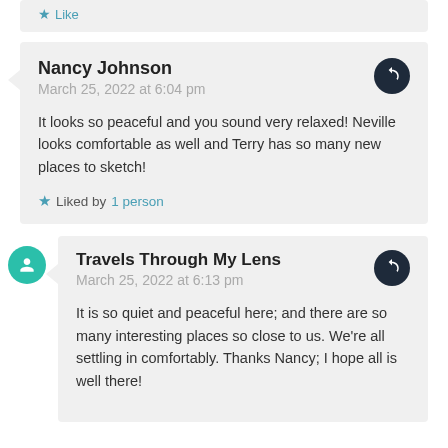Like
Nancy Johnson
March 25, 2022 at 6:04 pm
It looks so peaceful and you sound very relaxed! Neville looks comfortable as well and Terry has so many new places to sketch!
Liked by 1 person
Travels Through My Lens
March 25, 2022 at 6:13 pm
It is so quiet and peaceful here; and there are so many interesting places so close to us. We're all settling in comfortably. Thanks Nancy; I hope all is well there!